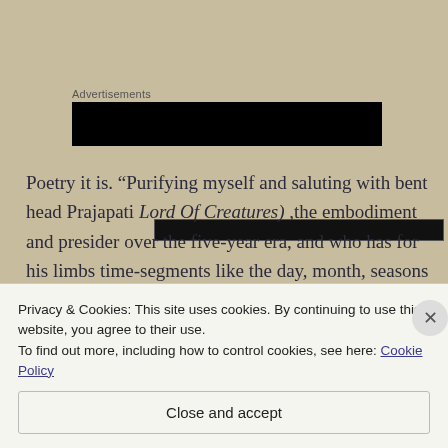Advertisements
[Figure (other): Advertisement banner block (black rectangle with inner dark bar)]
Poetry it is. “Purifying myself and saluting with bent head Prajapati Lord Of Creatures) ,the embodiment and presider over the five-year era, and who has for his limbs time-segments like the day, month, seasons and courses of the sun, I shall write systematically about the effect on time
Privacy & Cookies: This site uses cookies. By continuing to use this website, you agree to their use.
To find out more, including how to control cookies, see here: Cookie Policy
Close and accept